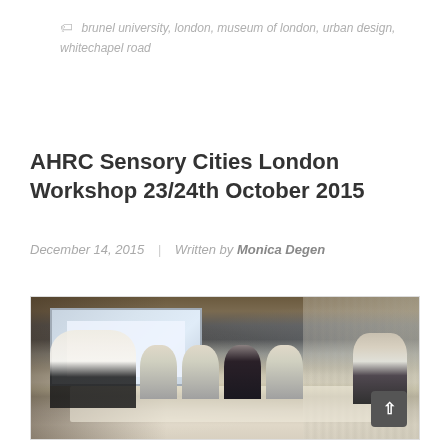brunel university, london, museum of london, urban design, whitechapel road
AHRC Sensory Cities London Workshop 23/24th October 2015
December 14, 2015 | Written by Monica Degen
[Figure (photo): Group of people seated around a conference table in a meeting room with a projected presentation screen visible in the background. Several participants are engaged in discussion.]